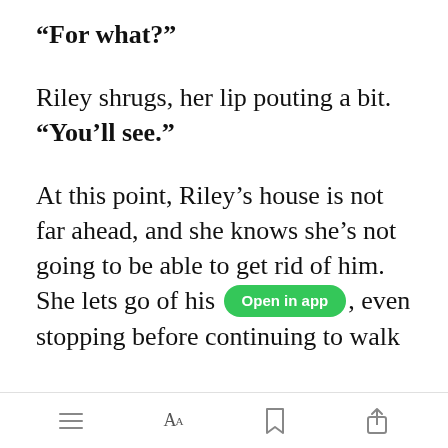“For what?”
Riley shrugs, her lip pouting a bit. “You’ll see.”
At this point, Riley’s house is not far ahead, and she knows she’s not going to be able to get rid of him. She lets go of his wrist, even stopping before continuing to walk
[Figure (screenshot): Green 'Open in app' button overlay on top of the text]
Toolbar with menu, font size, bookmark, and share icons